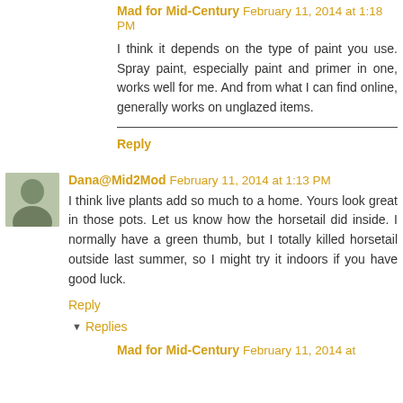Mad for Mid-Century February 11, 2014 at 1:18 PM
I think it depends on the type of paint you use. Spray paint, especially paint and primer in one, works well for me. And from what I can find online, generally works on unglazed items.
Reply
Dana@Mid2Mod February 11, 2014 at 1:13 PM
I think live plants add so much to a home. Yours look great in those pots. Let us know how the horsetail did inside. I normally have a green thumb, but I totally killed horsetail outside last summer, so I might try it indoors if you have good luck.
Reply
Replies
Mad for Mid-Century February 11, 2014 at